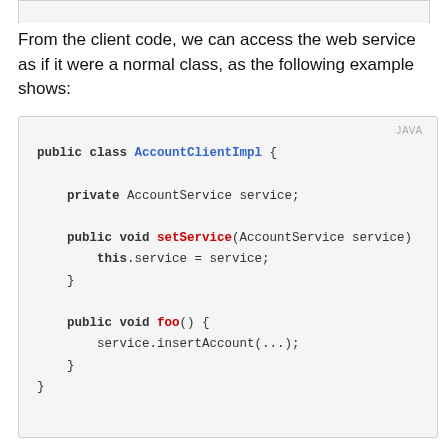From the client code, we can access the web service as if it were a normal class, as the following example shows:
[Figure (screenshot): Java code block showing AccountClientImpl class with private AccountService field, setService method, and foo method calling service.insertAccount(...)]